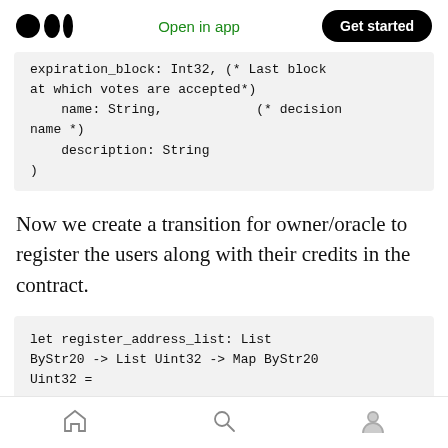Open in app | Get started
expiration_block: Int32, (* Last block at which votes are accepted*)
    name: String,            (* decision name *)
    description: String
)
Now we create a transition for owner/oracle to register the users along with their credits in the contract.
let register_address_list: List ByStr20 -> List Uint32 -> Map ByStr20 Uint32 =
Home | Search | Profile